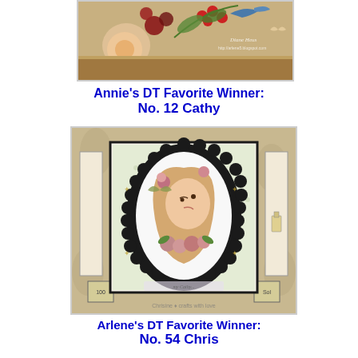[Figure (photo): Craft project photo showing a decorated box with flowers, berries, and a bird on top, with a blogger watermark 'Diane Heus' and URL http://arlene5.blogspot.com]
Annie's DT Favorite Winner:
No. 12 Cathy
[Figure (photo): Handmade greeting card by Cathy showing an oval cameo image of a girl with flowers and butterflies, mounted on a scalloped black border, with decorative elements and small boxes around the main card]
Arlene's DT Favorite Winner:
No. 54 Chris